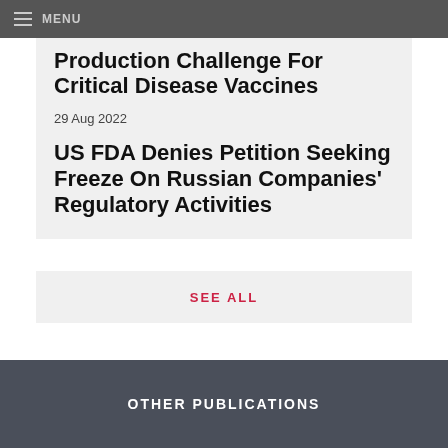MENU
Production Challenge For Critical Disease Vaccines
29 Aug 2022
US FDA Denies Petition Seeking Freeze On Russian Companies' Regulatory Activities
SEE ALL
OTHER PUBLICATIONS